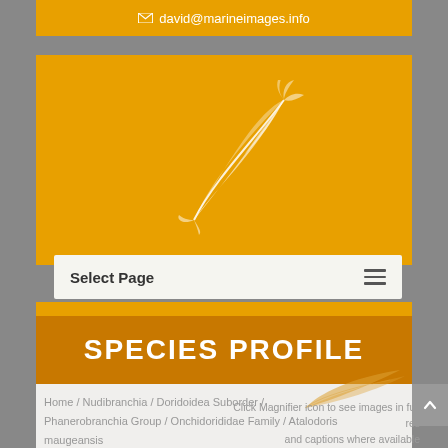✉ david@marineimages.info
[Figure (illustration): White feather/quill logo illustration on orange background]
Select Page
SPECIES PROFILE
Home / Nudibranchia / Doridoidea Suborder / Phanerobranchia Group / Onchidorididae Family / Atalodoris maugeansis
Click Magnifier icon to see images in full res and captions where available